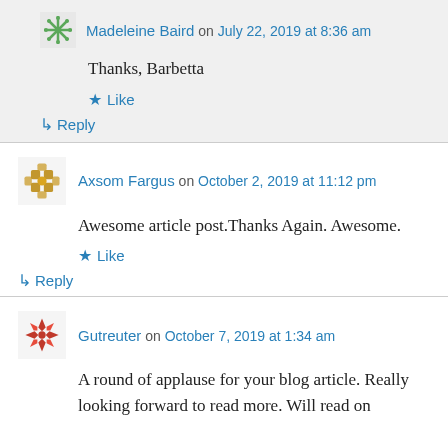Madeleine Baird on July 22, 2019 at 8:36 am
Thanks, Barbetta
Like
Reply
Axsom Fargus on October 2, 2019 at 11:12 pm
Awesome article post.Thanks Again. Awesome.
Like
Reply
Gutreuter on October 7, 2019 at 1:34 am
A round of applause for your blog article. Really looking forward to read more. Will read on